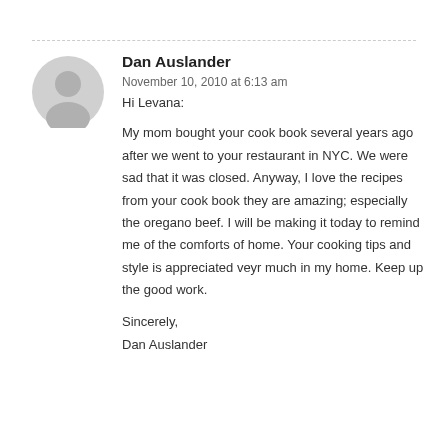Dan Auslander
November 10, 2010 at 6:13 am
Hi Levana:
My mom bought your cook book several years ago after we went to your restaurant in NYC. We were sad that it was closed. Anyway, I love the recipes from your cook book they are amazing; especially the oregano beef. I will be making it today to remind me of the comforts of home. Your cooking tips and style is appreciated veyr much in my home. Keep up the good work.

Sincerely,
Dan Auslander